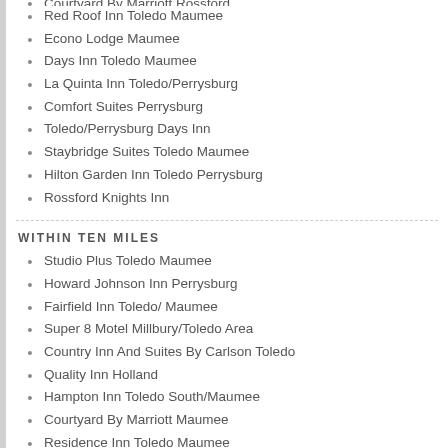Courtyard By Marriott Rossford
Red Roof Inn Toledo Maumee
Econo Lodge Maumee
Days Inn Toledo Maumee
La Quinta Inn Toledo/Perrysburg
Comfort Suites Perrysburg
Toledo/Perrysburg Days Inn
Staybridge Suites Toledo Maumee
Hilton Garden Inn Toledo Perrysburg
Rossford Knights Inn
WITHIN TEN MILES
Studio Plus Toledo Maumee
Howard Johnson Inn Perrysburg
Fairfield Inn Toledo/ Maumee
Super 8 Motel Millbury/Toledo Area
Country Inn And Suites By Carlson Toledo
Quality Inn Holland
Hampton Inn Toledo South/Maumee
Courtyard By Marriott Maumee
Residence Inn Toledo Maumee
Comfort Inn And Suites Maumee